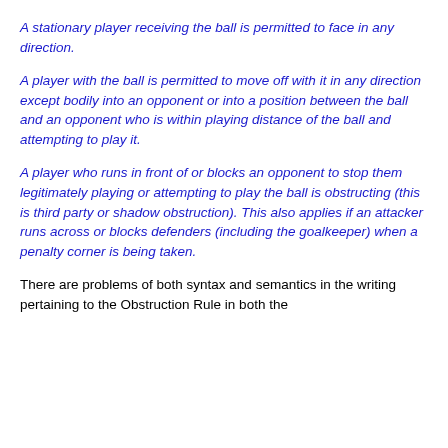A stationary player receiving the ball is permitted to face in any direction.
A player with the ball is permitted to move off with it in any direction except bodily into an opponent or into a position between the ball and an opponent who is within playing distance of the ball and attempting to play it.
A player who runs in front of or blocks an opponent to stop them legitimately playing or attempting to play the ball is obstructing (this is third party or shadow obstruction). This also applies if an attacker runs across or blocks defenders (including the goalkeeper) when a penalty corner is being taken.
There are problems of both syntax and semantics in the writing pertaining to the Obstruction Rule in both the